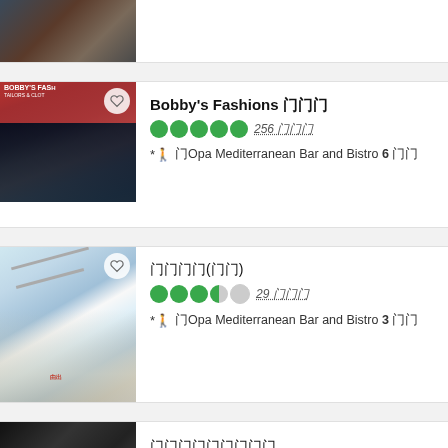[Figure (photo): Partial view of a photo at the top of the page, cropped]
[Figure (photo): Bobby's Fashions storefront - Tailors & Clothing shop]
Bobby's Fashions 门门门
●●●●● 256 门门门
* walking icon 门Opa Mediterranean Bar and Bistro 6 门门
[Figure (photo): Multi-story shopping mall interior with escalators]
门门门门(门门)
●●●◐○ 29 门门门
* walking icon 门Opa Mediterranean Bar and Bistro 3 门门
[Figure (photo): Partial photo at the bottom, cropped, dark image]
门门门门门门门门门